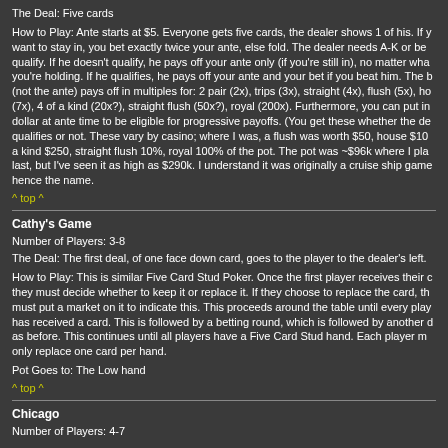The Deal: Five cards
How to Play: Ante starts at $5. Everyone gets five cards, the dealer shows 1 of his. If you want to stay in, you bet exactly twice your ante, else fold. The dealer needs A-K or better to qualify. If he doesn't qualify, he pays off your ante only (if you're still in), no matter what you're holding. If he qualifies, he pays off your ante and your bet if you beat him. The bet (not the ante) pays off in multiples for: 2 pair (2x), trips (3x), straight (4x), flush (5x), ho (7x), 4 of a kind (20x?), straight flush (50x?), royal (200x). Furthermore, you can put in a dollar at ante time to be eligible for progressive payoffs. (You get these whether the dealer qualifies or not. These vary by casino; where I was, a flush was worth $50, house $100, 4 of a kind $250, straight flush 10%, royal 100% of the pot. The pot was ~$96k where I played last, but I've seen it as high as $290k. I understand it was originally a cruise ship game, hence the name.
^ top ^
Cathy's Game
Number of Players: 3-8
The Deal: The first deal, of one face down card, goes to the player to the dealer's left.
How to Play: This is similar Five Card Stud Poker. Once the first player receives their card, they must decide whether to keep it or replace it. If they choose to replace the card, they must put a market on it to indicate this. This proceeds around the table until every player has received a card. This is followed by a betting round, which is followed by another deal as before. This continues until all players have a Five Card Stud hand. Each player may only replace one card per hand.
Pot Goes to: The Low hand
^ top ^
Chicago
Number of Players: 4-7